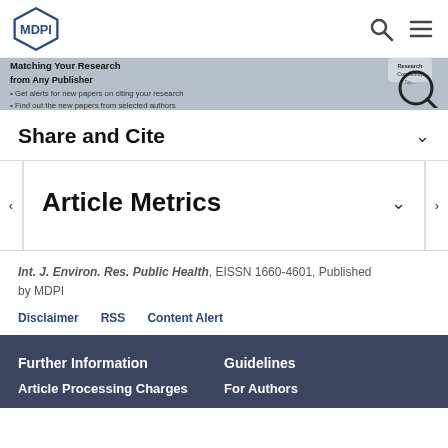MDPI
[Figure (screenshot): MDPI website banner promoting research paper alerts - Never Miss Any Articles Matching Your Research from Any Publisher, with search/magnifier icon overlay]
Share and Cite
Article Metrics
Int. J. Environ. Res. Public Health, EISSN 1660-4601, Published by MDPI
Disclaimer   RSS   Content Alert
Further Information
Article Processing Charges
Guidelines
For Authors